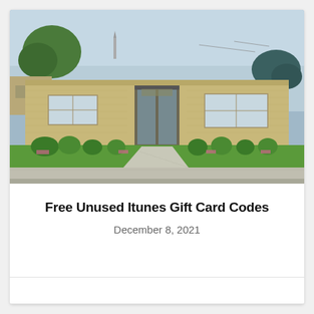[Figure (photo): Exterior photo of a single-story brick commercial building with glass entry doors, trimmed shrubs, green lawn, sidewalk, and parking lot. Trees visible in background under a clear sky.]
Free Unused Itunes Gift Card Codes
December 8, 2021